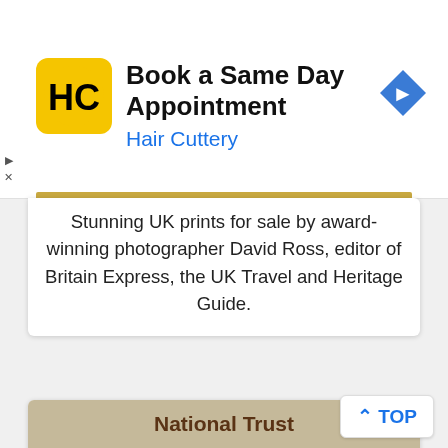[Figure (screenshot): Hair Cuttery advertisement banner with yellow HC logo, text 'Book a Same Day Appointment' and 'Hair Cuttery' in blue, plus blue diamond direction arrow icon on right]
Stunning UK prints for sale by award-winning photographer David Ross, editor of Britain Express, the UK Travel and Heritage Guide.
National Trust
[Figure (logo): National Trust oak tree logo in black silhouette, with 'National' text partially visible below]
TOP